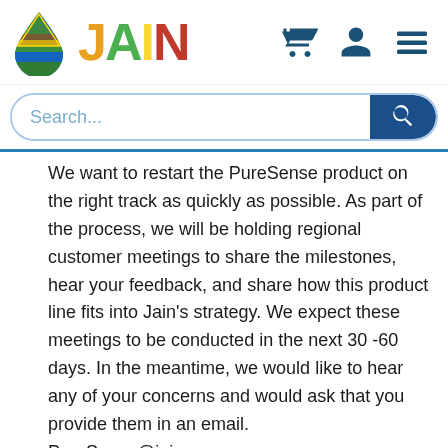[Figure (logo): JAIN logo with colorful teardrop/water drop icon and multicolored JAIN text in orange, green, yellow, red]
We want to restart the PureSense product on the right track as quickly as possible. As part of the process, we will be holding regional customer meetings to share the milestones, hear your feedback, and share how this product line fits into Jain’s strategy. We expect these meetings to be conducted in the next 30 -60 days. In the meantime, we would like to hear any of your concerns and would ask that you provide them in an email. PureSense@jainsusa.com
What is Jain going to do with the PureSense products and people?